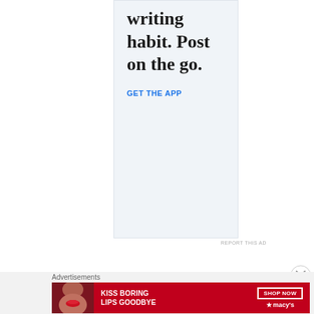[Figure (other): App advertisement banner with light blue background. Shows partial text 'writing habit. Post on the go.' with a blue 'GET THE APP' call-to-action link.]
REPORT THIS AD
[Figure (other): Macy's advertisement banner. Red background with a woman's face, bold white text 'KISS BORING LIPS GOODBYE', a 'SHOP NOW' button, and the Macy's star logo.]
Advertisements